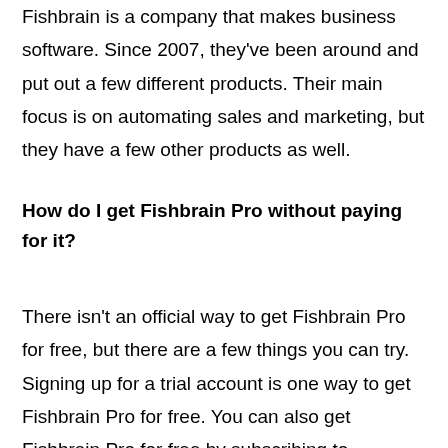Fishbrain is a company that makes business software. Since 2007, they've been around and put out a few different products. Their main focus is on automating sales and marketing, but they have a few other products as well.
How do I get Fishbrain Pro without paying for it?
There isn't an official way to get Fishbrain Pro for free, but there are a few things you can try. Signing up for a trial account is one way to get Fishbrain Pro for free. You can also get Fishbrain Pro for free by subscribing to Fishbrain's premium version...